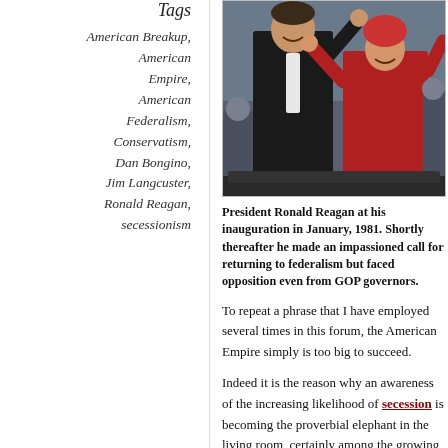Tags
American Breakup,
American Empire,
American Federalism,
Conservatism,
Dan Bongino,
Jim Langcuster,
Ronald Reagan,
secessionism
[Figure (photo): President Ronald Reagan and Nancy Reagan waving at the inauguration parade in January 1981, in an open vehicle, she wearing a red coat and hat.]
President Ronald Reagan at his inauguration in January, 1981. Shortly thereafter he made an impassioned call for returning to federalism but faced opposition even from GOP governors.
To repeat a phrase that I have employed several times in this forum, the American Empire simply is too big to succeed.
Indeed it is the reason why an awareness of the increasing likelihood of secession is becoming the proverbial elephant in the living room, certainly among the growing numbers of us ordinary Americans in the